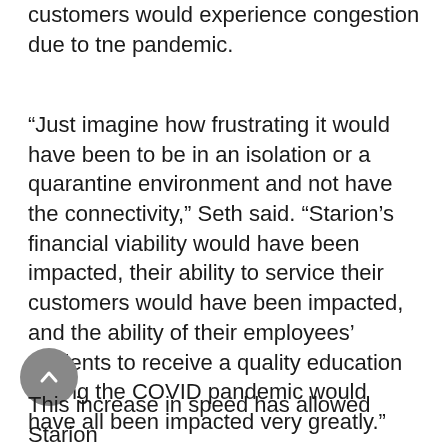customers would experience congestion due to the pandemic.
“Just imagine how frustrating it would have been to be in an isolation or a quarantine environment and not have the connectivity,” Seth said. “Starion’s financial viability would have been impacted, their ability to service their customers would have been impacted, and the ability of their employees’ students to receive a quality education during the COVID pandemic would have all been impacted very greatly.”
This increase in speed has allowed Starion